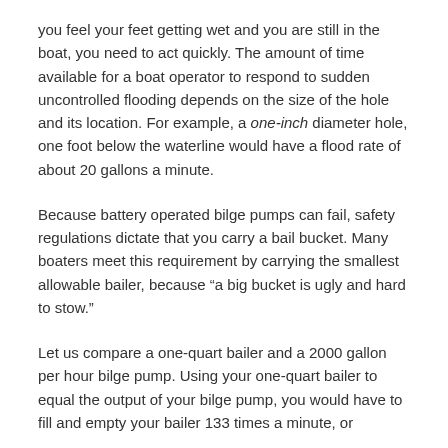you feel your feet getting wet and you are still in the boat, you need to act quickly. The amount of time available for a boat operator to respond to sudden uncontrolled flooding depends on the size of the hole and its location. For example, a one-inch diameter hole, one foot below the waterline would have a flood rate of about 20 gallons a minute.
Because battery operated bilge pumps can fail, safety regulations dictate that you carry a bail bucket. Many boaters meet this requirement by carrying the smallest allowable bailer, because “a big bucket is ugly and hard to stow.”
Let us compare a one-quart bailer and a 2000 gallon per hour bilge pump. Using your one-quart bailer to equal the output of your bilge pump, you would have to fill and empty your bailer 133 times a minute, or